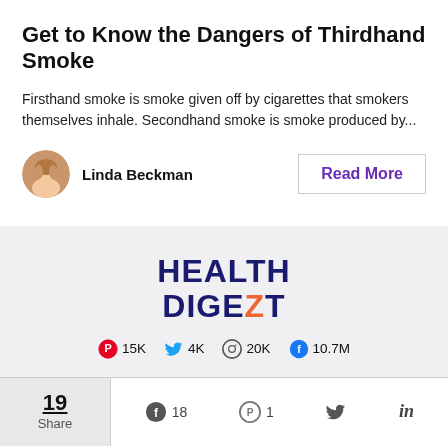Get to Know the Dangers of Thirdhand Smoke
Firsthand smoke is smoke given off by cigarettes that smokers themselves inhale. Secondhand smoke is smoke produced by...
Linda Beckman
[Figure (logo): HEALTH DIGEZT logo with stylized Z]
Pinterest 15K  Twitter 4K  Instagram 20K  Facebook 10.7M
19 Share  Facebook 18  Pinterest 1  Twitter  LinkedIn